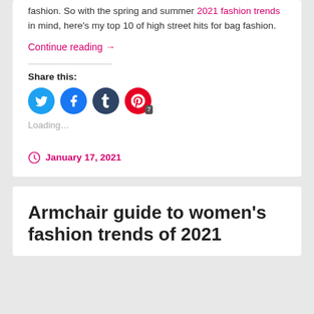fashion. So with the spring and summer 2021 fashion trends in mind, here's my top 10 of high street hits for bag fashion.
Continue reading →
Share this:
[Figure (infographic): Social share buttons: Twitter (blue), Facebook (blue), Tumblr (dark navy), Pinterest (red with badge showing 7)]
Loading...
January 17, 2021
Armchair guide to women's fashion trends of 2021